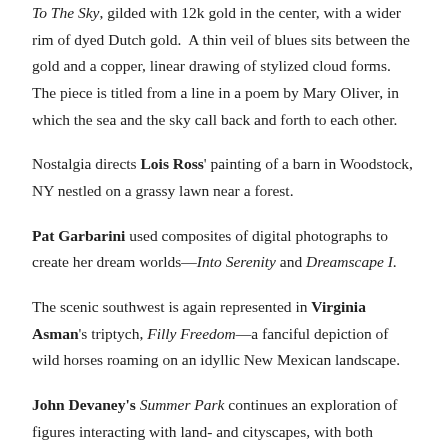To The Sky, gilded with 12k gold in the center, with a wider rim of dyed Dutch gold.  A thin veil of blues sits between the gold and a copper, linear drawing of stylized cloud forms.  The piece is titled from a line in a poem by Mary Oliver, in which the sea and the sky call back and forth to each other.
Nostalgia directs Lois Ross' painting of a barn in Woodstock, NY nestled on a grassy lawn near a forest.
Pat Garbarini used composites of digital photographs to create her dream worlds—Into Serenity and Dreamscape I.
The scenic southwest is again represented in Virginia Asman's triptych, Filly Freedom—a fanciful depiction of wild horses roaming on an idyllic New Mexican landscape.
John Devaney's Summer Park continues an exploration of figures interacting with land- and cityscapes, with both elements